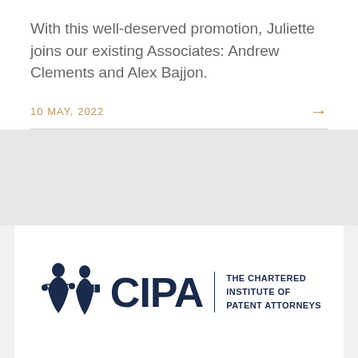With this well-deserved promotion, Juliette joins our existing Associates: Andrew Clements and Alex Bajjon.
10 MAY, 2022
[Figure (logo): CIPA – The Chartered Institute of Patent Attorneys logo with illustrated figures holding scales and documents on the left, bold CIPA text, and tagline 'THE CHARTERED INSTITUTE OF PATENT ATTORNEYS' on the right.]